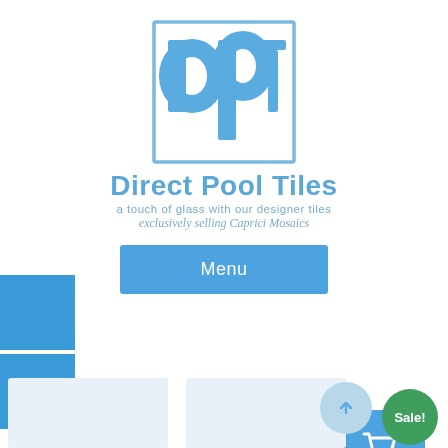[Figure (logo): Direct Pool Tiles logo: square blue outlined box with stylized 'dpt' letters in blue, company name 'Direct Pool Tiles' below in blue, tagline 'a touch of glass with our designer tiles', and italic script 'exclusively selling Caprici Mosaics']
Menu
Our Tile Shop
Sale!